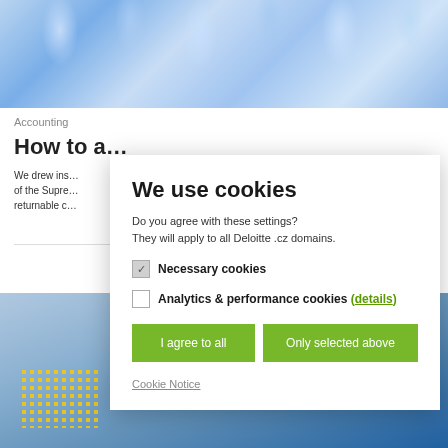[Figure (photo): Blue-tinted photo of glass bottles/laboratory glassware at top of page]
Accounting
How to a…
We drew ins… of the Supre… returnable c…
[Figure (photo): Photo of European Union flag and building at bottom of page]
We use cookies
Do you agree with these settings?
They will apply to all Deloitte .cz domains.
Necessary cookies
Analytics & performance cookies (details)
I agree to all
Only selected above
Cookie Notice